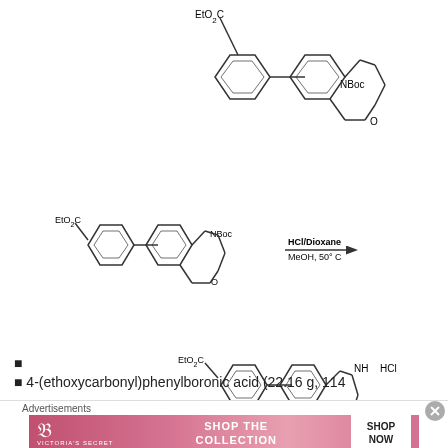[Figure (schematic): Chemical structure of ethyl 4-(2-(tert-butoxycarbonylamino)-2,3-dihydro-1,4-benzoxazepin-7-yl)benzoate (Boc-protected intermediate), shown at top of page.]
[Figure (schematic): Reaction scheme: Boc-protected benzoxazepine phenyl ester reacts with HCl/Dioxane, MeOH, 50°C to give the HCl salt product (amine deprotection).]
[Figure (schematic): Chemical structure of ethyl 4-(2-amino-2,3-dihydro-1,4-benzoxazepin-7-yl)benzoate hydrochloride salt (NH HCl shown).]
■
■ 4-(ethoxycarbonyl)phenylboronic acid (22.16 g, 114